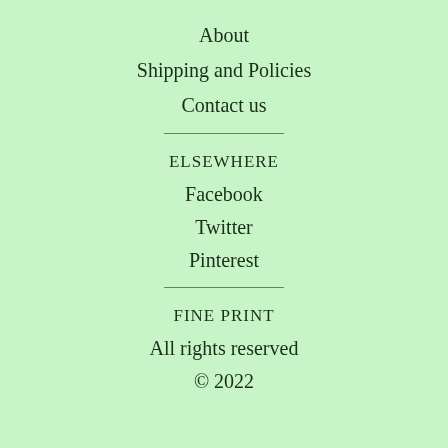About
Shipping and Policies
Contact us
ELSEWHERE
Facebook
Twitter
Pinterest
FINE PRINT
All rights reserved
© 2022